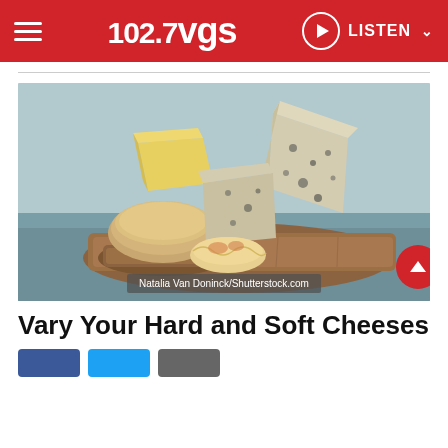102.7 VGS — LISTEN
[Figure (photo): Various hard and soft cheeses arranged on a wooden cutting board against a blue-grey background. Photo credit: Natalia Van Doninck/Shutterstock.com]
Vary Your Hard and Soft Cheeses